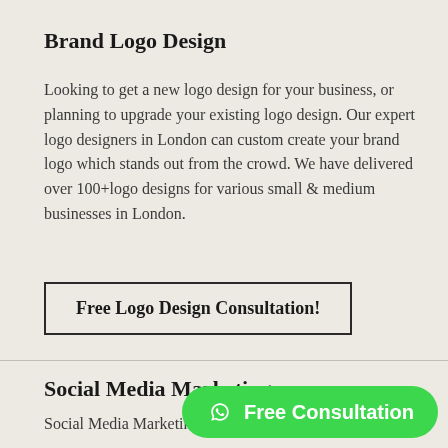Brand Logo Design
Looking to get a new logo design for your business, or planning to upgrade your existing logo design. Our expert logo designers in London can custom create your brand logo which stands out from the crowd. We have delivered over 100+logo designs for various small & medium businesses in London.
Free Logo Design Consultation!
Social Media Marketing
Social Media Marketing and Advertising makes
Free Consultation